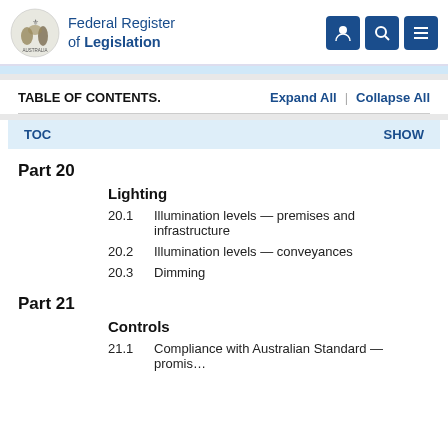Federal Register of Legislation
TABLE OF CONTENTS. Expand All | Collapse All
TOC SHOW
Part 20
Lighting
20.1	Illumination levels — premises and infrastructure
20.2	Illumination levels — conveyances
20.3	Dimming
Part 21
Controls
21.1	Compliance with Australian Standard — promis…